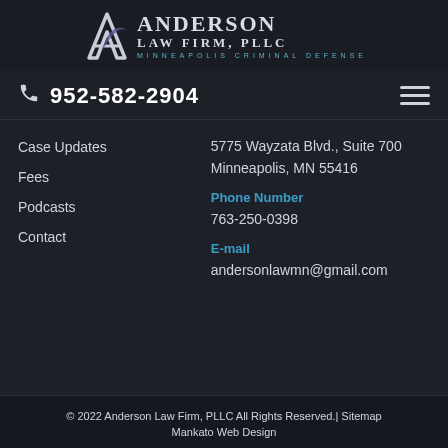[Figure (logo): Anderson Law Firm, PLLC logo with stylized A icon and text 'Minneapolis Criminal Defense']
952-582-2904
Case Updates
Fees
Podcasts
Contact
5775 Wayzata Blvd., Suite 700
Minneapolis, MN 55416
Phone Number
763-250-0398
E-mail
andersonlawmn@gmail.com
© 2022 Anderson Law Firm, PLLC All Rights Reserved.| Sitemap
Mankato Web Design